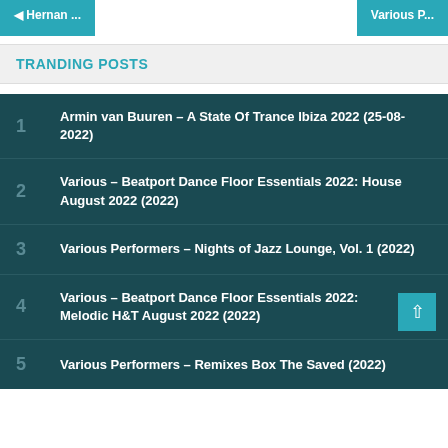◄ Hernan ...   Various P...
TRANDING POSTS
1  Armin van Buuren – A State Of Trance Ibiza 2022 (25-08-2022)
2  Various – Beatport Dance Floor Essentials 2022: House August 2022 (2022)
3  Various Performers – Nights of Jazz Lounge, Vol. 1 (2022)
4  Various – Beatport Dance Floor Essentials 2022: Melodic H&T August 2022 (2022)
5  Various Performers – Remixes Box The Saved (2022)